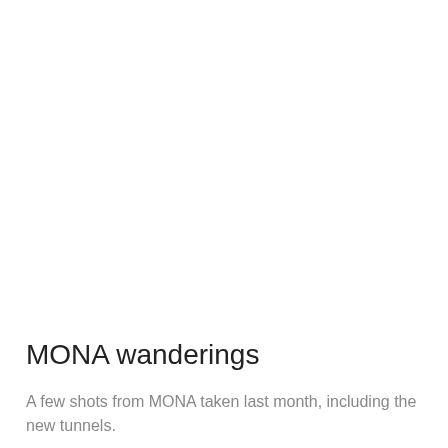MONA wanderings
A few shots from MONA taken last month, including the new tunnels.